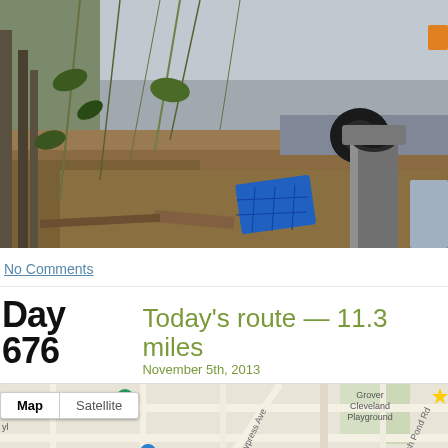[Figure (photo): Photo of an overgrown yard or junkyard with a large vehicle (bus or truck) in the upper right, dead vegetation, a blue plastic crate, fence posts on the left, and a metal pipe on the right foreground]
No Comments
Day 676  Today's route — 11.3 miles  November 5th, 2013
[Figure (map): Google Maps screenshot showing a neighborhood map with Map/Satellite toggle buttons, street names including Fresh Pond Rd, Forest Ave, Cypress Ave, and locations including Grover Cleveland Playground, Wyckoff Heights Medical Center, Urban Jungle, House of Yes, Jose Mafer. Red route boxes are visible in the lower right area. Blue M subway icons visible.]